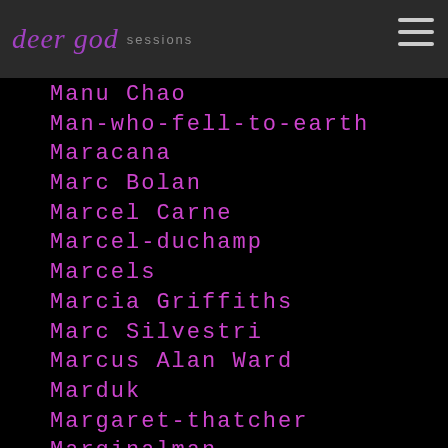deer god sessions
Manu Chao
Man-who-fell-to-earth
Maracana
Marc Bolan
Marcel Carne
Marcel-duchamp
Marcels
Marcia Griffiths
Marc Silvestri
Marcus Alan Ward
Marduk
Margaret-thatcher
Marginalman
Marginal Man
Maria Jose Llergo
Marianne Faithfull
Mariano-rivera